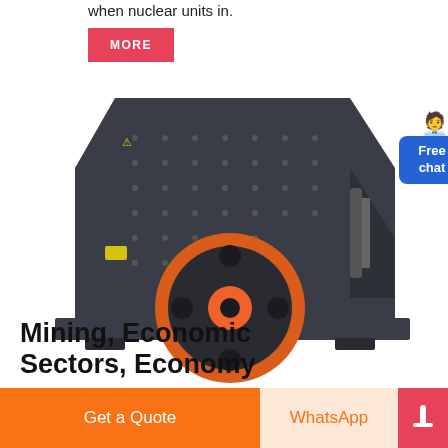when nuclear units in.
MORE
[Figure (photo): Industrial impact crusher / hammer mill machine with dark metal casing and orange circular rotor assembly, on white background]
Free chat
Mining, Economic Sectors, Economy
Get a Quote
WhatsApp